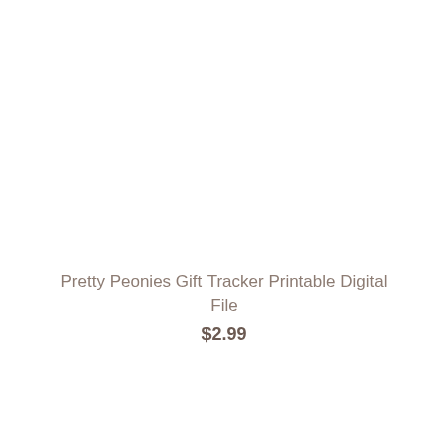Pretty Peonies Gift Tracker Printable Digital File
$2.99